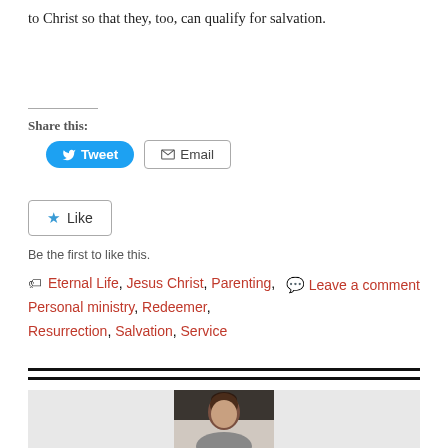to Christ so that they, too, can qualify for salvation.
Share this:
Tweet  Email
Like  Be the first to like this.
Eternal Life, Jesus Christ, Parenting, Personal ministry, Redeemer, Resurrection, Salvation, Service   Leave a comment
[Figure (photo): Portrait photo of a woman with dark hair in an updo, shown from shoulders up]